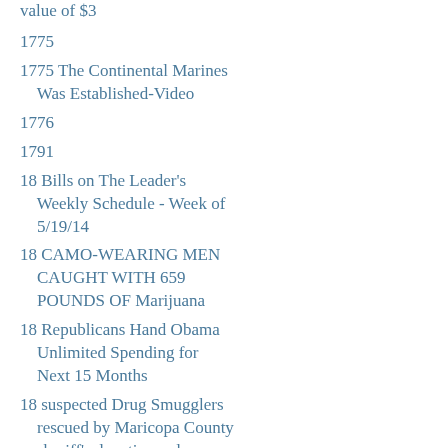value of $3
1775
1775 The Continental Marines Was Established-Video
1776
1791
18 Bills on The Leader's Weekly Schedule - Week of 5/19/14
18 CAMO-WEARING MEN CAUGHT WITH 659 POUNDS OF Marijuana
18 Republicans Hand Obama Unlimited Spending for Next 15 Months
18 suspected Drug Smugglers rescued by Maricopa County sheriff's deputies and Customs and Border Patrol who were lost in the desert
1804
1836